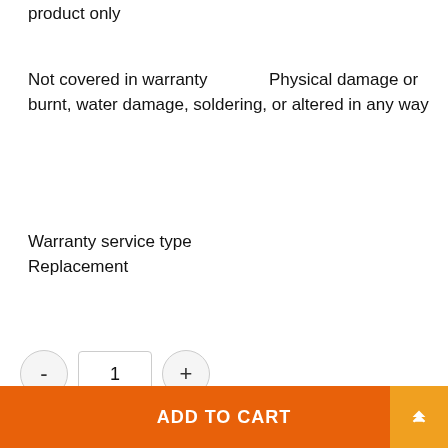product only
Not covered in warranty   Physical damage or burnt, water damage, soldering, or altered in any way
Warranty service type Replacement
- 1 +
Add to wishlist   Compare
SKU
ADD TO CART